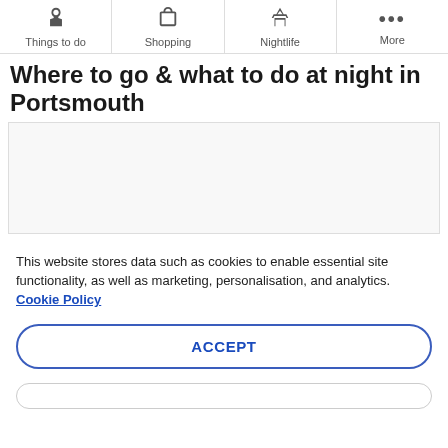Things to do | Shopping | Nightlife | More
Where to go & what to do at night in Portsmouth
[Figure (photo): Placeholder image area for nightlife in Portsmouth]
This website stores data such as cookies to enable essential site functionality, as well as marketing, personalisation, and analytics. Cookie Policy
ACCEPT